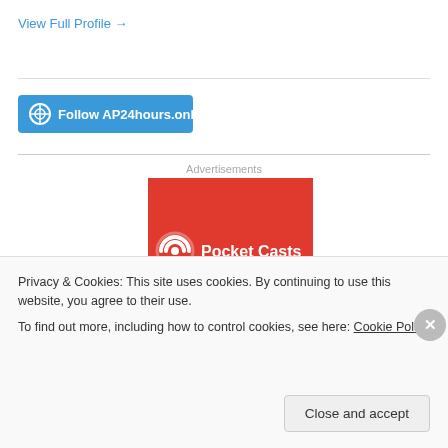View Full Profile →
[Figure (screenshot): Blue WordPress follow button with 'Follow AP24hours.online']
Advertisements
[Figure (logo): Pocket Casts advertisement banner on red background with white Pocket Casts logo and text]
Privacy & Cookies: This site uses cookies. By continuing to use this website, you agree to their use.
To find out more, including how to control cookies, see here: Cookie Policy
Close and accept